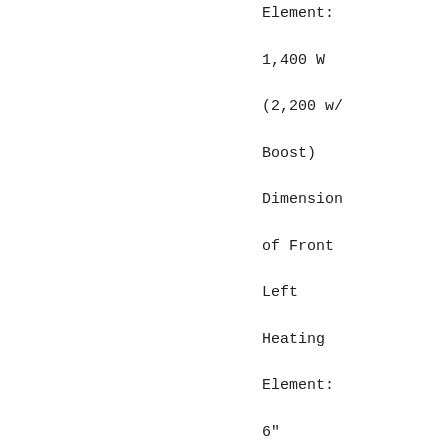Element: 1,400 W (2,200 w/ Boost) Dimension of Front Left Heating Element: 6" Dimension of Back Left Heating Element: 9" Dimension of Back Right